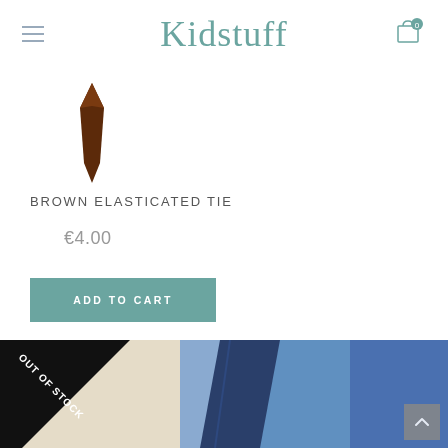Kidstuff
[Figure (photo): Small brown elasticated tie product image on white background]
BROWN ELASTICATED TIE
€4.00
ADD TO CART
[Figure (photo): Blue and navy tie product image with 'OUT OF STOCK' diagonal banner in top-left corner]